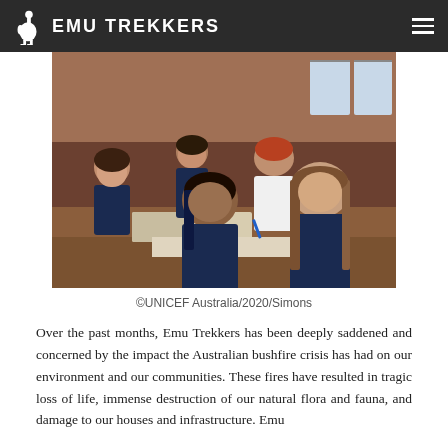EMU TREKKERS
[Figure (photo): Students in school uniforms (navy blue jackets) sitting at desks in a classroom, studying together and looking at an open book. Multiple students visible in the background.]
©UNICEF Australia/2020/Simons
Over the past months, Emu Trekkers has been deeply saddened and concerned by the impact the Australian bushfire crisis has had on our environment and our communities. These fires have resulted in tragic loss of life, immense destruction of our natural flora and fauna, and damage to our houses and infrastructure. Emu